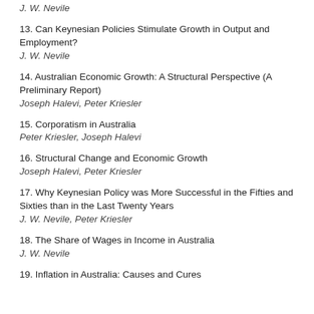J. W. Nevile
13. Can Keynesian Policies Stimulate Growth in Output and Employment?
J. W. Nevile
14. Australian Economic Growth: A Structural Perspective (A Preliminary Report)
Joseph Halevi, Peter Kriesler
15. Corporatism in Australia
Peter Kriesler, Joseph Halevi
16. Structural Change and Economic Growth
Joseph Halevi, Peter Kriesler
17. Why Keynesian Policy was More Successful in the Fifties and Sixties than in the Last Twenty Years
J. W. Nevile, Peter Kriesler
18. The Share of Wages in Income in Australia
J. W. Nevile
19. Inflation in Australia: Causes and Cures